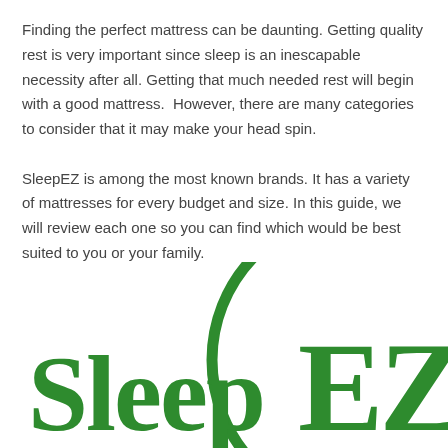Finding the perfect mattress can be daunting. Getting quality rest is very important since sleep is an inescapable necessity after all. Getting that much needed rest will begin with a good mattress.  However, there are many categories to consider that it may make your head spin.

SleepEZ is among the most known brands. It has a variety of mattresses for every budget and size. In this guide, we will review each one so you can find which would be best suited to you or your family.
[Figure (logo): SleepEZ logo in green — the word 'Sleep' in green serif-style text followed by 'EZ' in large bold green letters inside a green circle outline, partially cropped at the bottom of the page.]